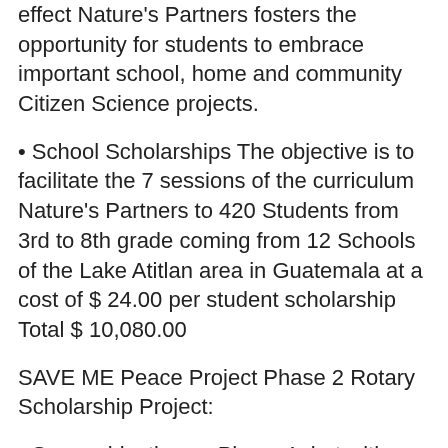effect Nature's Partners fosters the opportunity for students to embrace important school, home and community Citizen Science projects.
• School Scholarships The objective is to facilitate the 7 sessions of the curriculum Nature's Partners to 420 Students from 3rd to 8th grade coming from 12 Schools of the Lake Atitlan area in Guatemala at a cost of $ 24.00 per student scholarship Total $ 10,080.00
SAVE ME Peace Project Phase 2 Rotary Scholarship Project:
• Same objective as Phase 1, but with extended facilitation of the curriculum to 1,260 students from 3rd to 8th grade coming from 28 Schools of the Lake Atitlan area at a